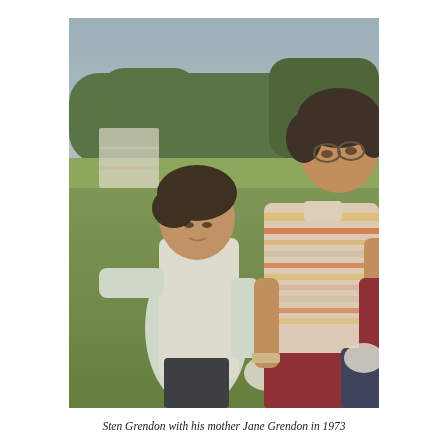[Figure (photo): A vintage color photograph from 1973 showing a young boy (Sten Grendon) and a woman (his mother Jane Grendon) standing outdoors in a grassy field. The boy is wearing a white short-sleeve shirt and looking down. The woman wears glasses and a striped polo shirt and is looking down at the boy. She is holding red and dark blue items of clothing. Trees and a fence are visible in the background under a light blue sky.]
Sten Grendon with his mother Jane Grendon in 1973